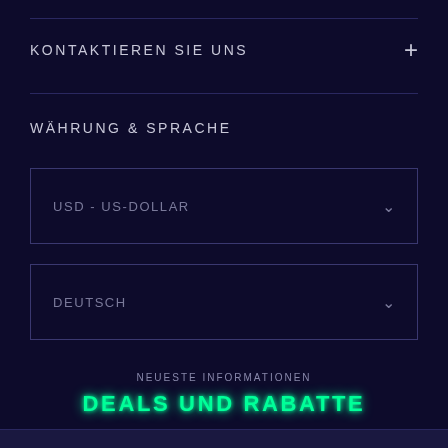KONTAKTIEREN SIE UNS
WÄHRUNG & SPRACHE
USD - US-DOLLAR
DEUTSCH
NEUESTE INFORMATIONEN
DEALS UND RABATTE